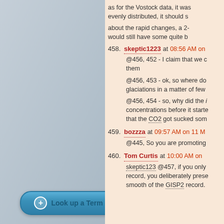as for the Vostock data, it was evenly distributed, it should s
about the rapid changes, a 2- would still have some quite b
458. skeptic1223 at 08:56 AM on
@456, 452 - I claim that we c them
@456, 453 - ok, so where do glaciations in a matter of few
@456, 454 - so, why did the i concentrations before it started that the CO2 got sucked some
459. bozzza at 09:57 AM on 11 M
@445, So you are promoting
460. Tom Curtis at 10:00 AM on
skeptic123 @457, if you only record, you deliberately prese smooth of the GISP2 record.